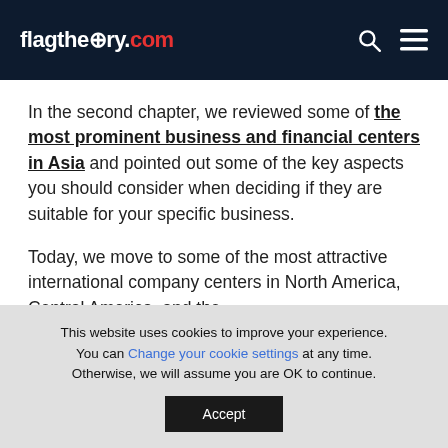flagtheory.com
In the second chapter, we reviewed some of the most prominent business and financial centers in Asia and pointed out some of the key aspects you should consider when deciding if they are suitable for your specific business.
Today, we move to some of the most attractive international company centers in North America, Central America, and the
This website uses cookies to improve your experience. You can Change your cookie settings at any time. Otherwise, we will assume you are OK to continue.